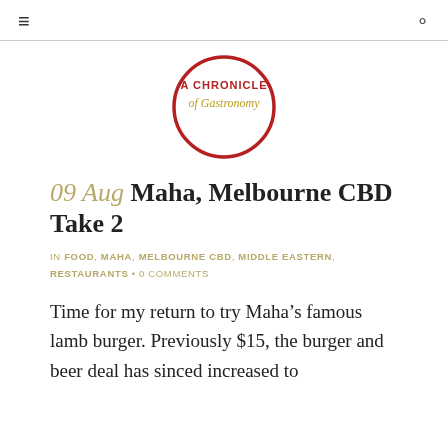≡  ○
[Figure (logo): A Chronicle of Gastronomy circular logo with red border and red/gold script text]
09 Aug Maha, Melbourne CBD Take 2
IN FOOD, MAHA, MELBOURNE CBD, MIDDLE EASTERN, RESTAURANTS • 0 COMMENTS
Time for my return to try Maha's famous lamb burger. Previously $15, the burger and beer deal has sinced increased to